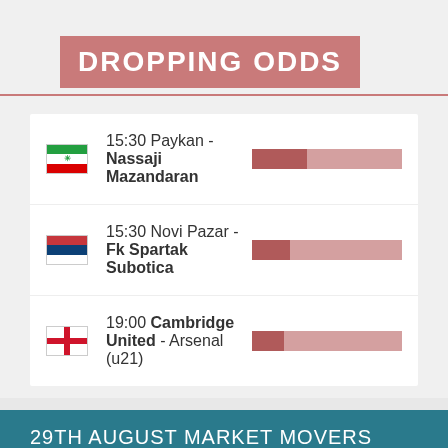DROPPING ODDS
15:30 Paykan - Nassaji Mazandaran
15:30 Novi Pazar - Fk Spartak Subotica
19:00 Cambridge United - Arsenal (u21)
29TH AUGUST MARKET MOVERS LATE
DROPPING ODDS